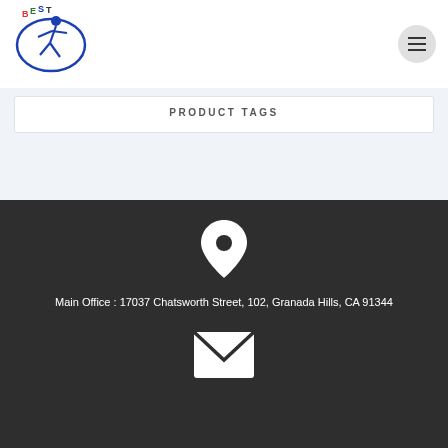[Figure (logo): BEST company logo with a blue figure athlete inside a blue oval and the word BEST in red/green/blue letters]
PRODUCT TAGS
Main Office : 17037 Chatsworth Street, 102, Granada Hills, CA 91344
[Figure (illustration): White envelope/mail icon]
[Figure (illustration): White location pin icon]